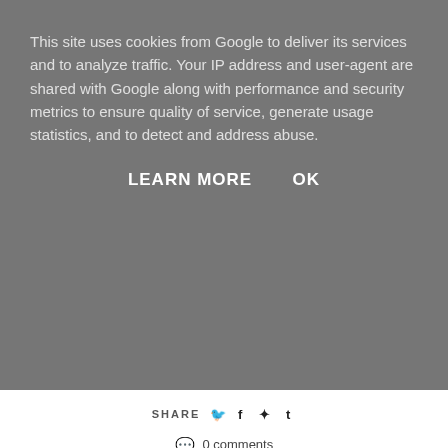This site uses cookies from Google to deliver its services and to analyze traffic. Your IP address and user-agent are shared with Google along with performance and security metrics to ensure quality of service, generate usage statistics, and to detect and address abuse.
LEARN MORE   OK
SHARE
0 comments
RELATED POSTS
[Figure (photo): Photo of two hair care products (shampoo and serum bottles) on a patterned background with leaves]
Two Products From The Hair Boss